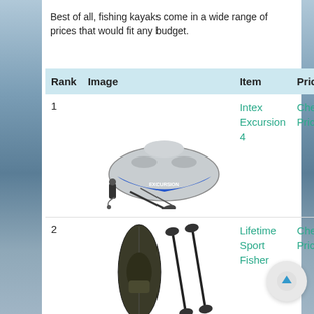Best of all, fishing kayaks come in a wide range of prices that would fit any budget.
| Rank | Image | Item | Price |
| --- | --- | --- | --- |
| 1 | [Intex Excursion 4 inflatable boat image] | Intex Excursion 4 | Check Price |
| 2 | [Lifetime Sport Fisher kayak image] | Lifetime Sport Fisher | Check Price |